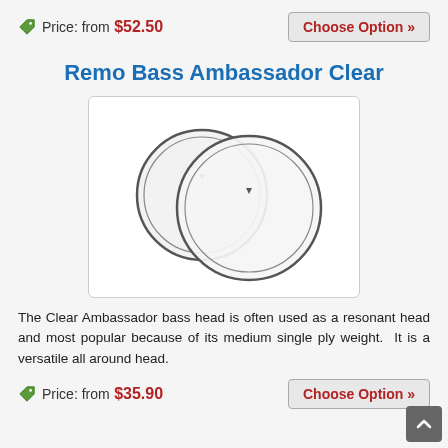Price: from $52.50
Choose Option »
Remo Bass Ambassador Clear
[Figure (photo): Two clear drum heads (bass ambassador) overlapping, shown against white background with a rounded rectangular border]
The Clear Ambassador bass head is often used as a resonant head and most popular because of its medium single ply weight.  It is a versatile all around head.
Price: from $35.90
Choose Option »